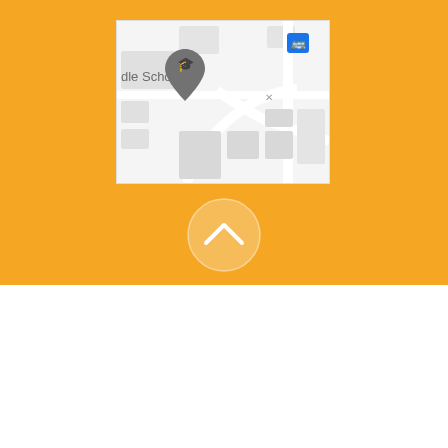[Figure (map): Google Maps screenshot showing a middle school location with a graduation cap pin marker and a bus stop icon. Text visible includes 'dle School' and 'd Ave NW'. Roads and building footprints visible on light gray map background.]
[Figure (other): White upward chevron/caret icon inside a semi-transparent light circle on an orange background, indicating a collapse or scroll-up action.]